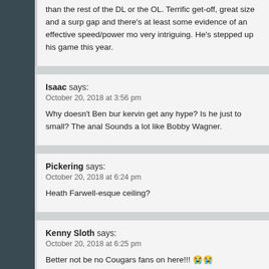than the rest of the DL or the OL. Terrific get-off, great size and a surp gap and there's at least some evidence of an effective speed/power mo very intriguing. He's stepped up his game this year.
Isaac says:
October 20, 2018 at 3:56 pm
Why doesn't Ben bur kervin get any hype? Is he just to small? The anal Sounds a lot like Bobby Wagner.
Pickering says:
October 20, 2018 at 6:24 pm
Heath Farwell-esque ceiling?
Kenny Sloth says:
October 20, 2018 at 6:25 pm
Better not be no Cougars fans on here!!! 😭😭
[eagle icons x4]
It's a long game baby we can still get in it.
Good thing Justin Herbert deserves to go in the first round though. Sure woul